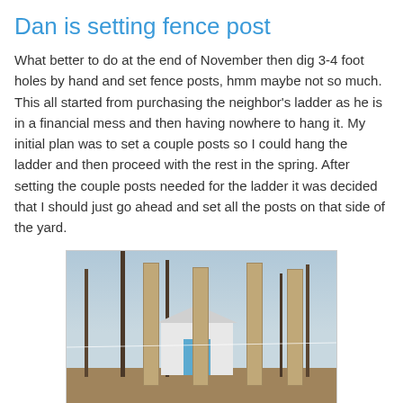Dan is setting fence post
What better to do at the end of November then dig 3-4 foot holes by hand and set fence posts, hmm maybe not so much. This all started from purchasing the neighbor's ladder as he is in a financial mess and then having nowhere to hang it. My initial plan was to set a couple posts so I could hang the ladder and then proceed with the rest in the spring. After setting the couple posts needed for the ladder it was decided that I should just go ahead and set all the posts on that side of the yard.
[Figure (photo): Outdoor photo showing wooden fence posts set in a yard, with bare trees in the background, a small teal/blue shed, and a string line visible across the posts. Ground is covered with fallen leaves.]